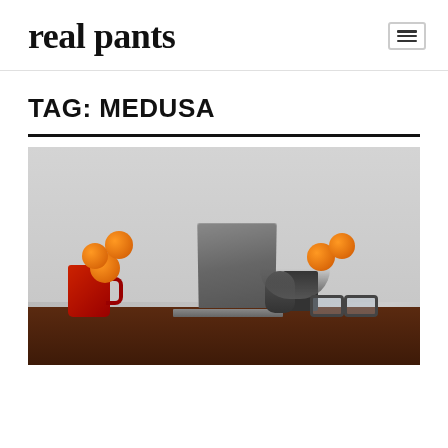real pants
TAG: MEDUSA
[Figure (photo): A desk scene with an open laptop, red mug, bowls of oranges, a computer mouse, and glasses on a dark wooden table surface against a light grey background.]